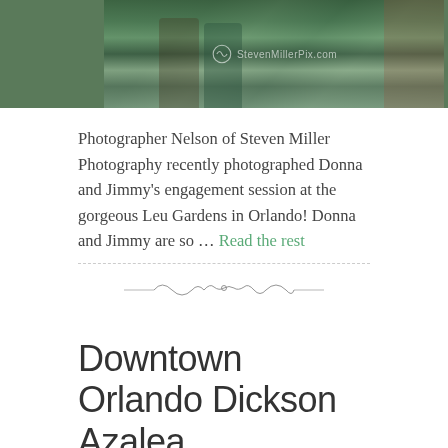[Figure (photo): A couple photographed outdoors at Leu Gardens, with greenery and a brick wall in the background. StevenMillerPix.com watermark visible.]
Photographer Nelson of Steven Miller Photography recently photographed Donna and Jimmy's engagement session at the gorgeous Leu Gardens in Orlando! Donna and Jimmy are so … Read the rest
[Figure (illustration): Decorative ornamental divider line with swirl/wave pattern]
Downtown Orlando Dickson Azalea Photographer